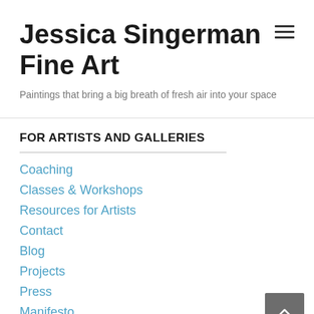Jessica Singerman Fine Art
Paintings that bring a big breath of fresh air into your space
FOR ARTISTS AND GALLERIES
Coaching
Classes & Workshops
Resources for Artists
Contact
Blog
Projects
Press
Manifesto